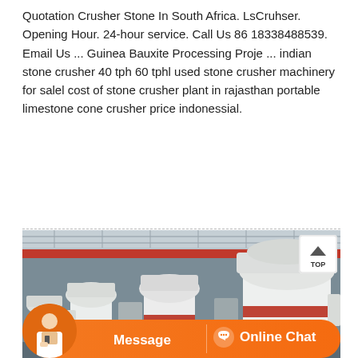Quotation Crusher Stone In South Africa. LsCruhser. Opening Hour. 24-hour service. Call Us 86 18338488539. Email Us ... Guinea Bauxite Processing Proje ... indian stone crusher 40 tph 60 tphl used stone crusher machinery for salel cost of stone crusher plant in rajasthan portable limestone cone crusher price indonessial.
[Figure (photo): Industrial factory interior showing multiple large white and red stone crusher machines (grinding mills) arranged on a factory floor, with overhead crane beams visible in the background. An orange chat bar with 'Message' and 'Online Chat' options overlays the bottom of the image, along with a customer service representative photo.]